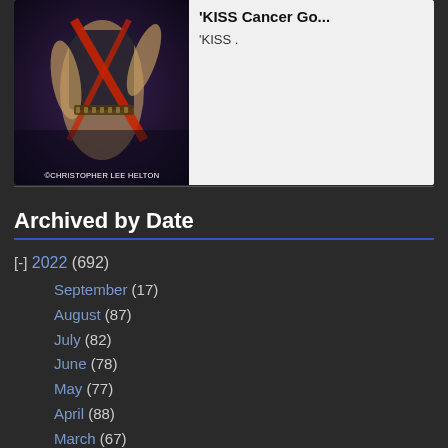[Figure (photo): Photo of a performer on stage wearing dark costume with red straps/guitar, copyright Christopher Lee Helton. Cropped at top showing torso/arms.]
'KISS Cancer Go...
'KISS .
Archived by Date
[-] 2022 (692)
September (17)
August (87)
July (82)
June (78)
May (77)
April (88)
March (67)
February (97)